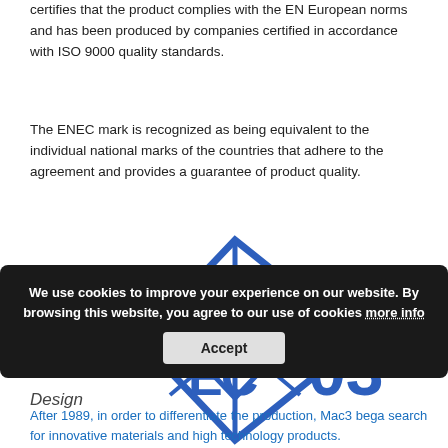certifies that the product complies with the EN European norms and has been produced by companies certified in accordance with ISO 9000 quality standards.
The ENEC mark is recognized as being equivalent to the individual national marks of the countries that adhere to the agreement and provides a guarantee of product quality.
[Figure (logo): ENEC 03 certification logo — blue diamond/snowflake shaped mark with 'EN EC' letters and number 03]
We use cookies to improve your experience on our website. By browsing this website, you agree to our use of cookies more info
Design
After 1989, in order to differentiate the production, Mac3 bega search for innovative materials and high technology products.